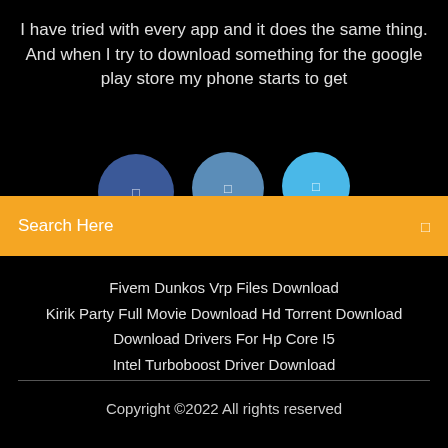I have tried with every app and it does the same thing. And when I try to download something for the google play store my phone starts to get
[Figure (screenshot): Three overlapping circles (social media/app icons) in dark blue, medium blue, and light blue, each with a small square icon in the center]
Search Here
Fivem Dunkos Vrp Files Download
Kirik Party Full Movie Download Hd Torrent Download
Download Drivers For Hp Core I5
Intel Turboboost Driver Download
Copyright ©2022 All rights reserved